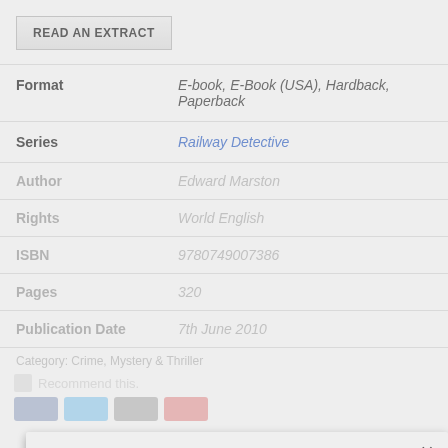READ AN EXTRACT
| Label | Value |
| --- | --- |
| Format | E-book, E-Book (USA), Hardback, Paperback |
| Series | Railway Detective |
| Author | Edward Marston |
| Rights | World English |
| ISBN | 9780749007386 |
| Pages | 320 |
| Publication Date | 7th June 2010 |
This website uses cookies to ensure you get the best experience on our website.
Learn more
Decline
Accept
Category: Crime, Mystery & Thriller
Recommend this.